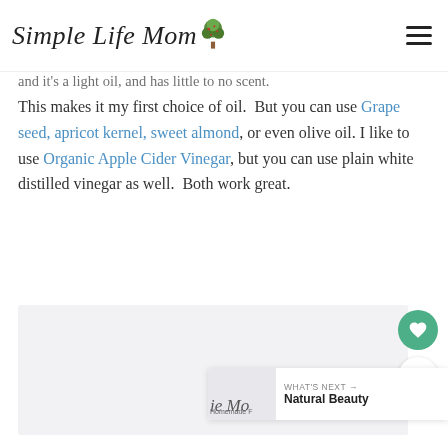Simple Life Mom
...and it's a light oil, and has little to no scent. This makes it my first choice of oil.  But you can use Grape seed, apricot kernel, sweet almond, or even olive oil. I like to use Organic Apple Cider Vinegar, but you can use plain white distilled vinegar as well.  Both work great.
[Figure (photo): Image placeholder (partially visible photo)]
WHAT'S NEXT → Natural Beauty